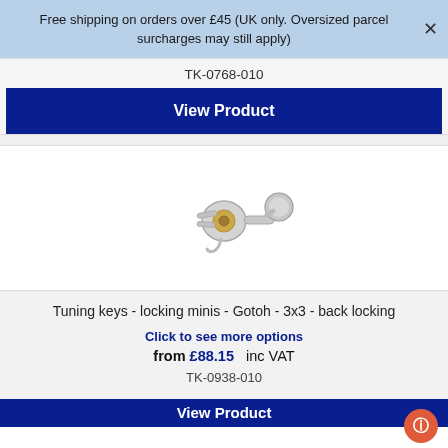Free shipping on orders over £45 (UK only. Oversized parcel surcharges may still apply)
TK-0768-010
View Product
[Figure (photo): Guitar tuning machine head - locking mini, silver/chrome finish with gold bushing]
Tuning keys - locking minis - Gotoh - 3x3 - back locking
Click to see more options
from £88.15  inc VAT
TK-0938-010
View Product